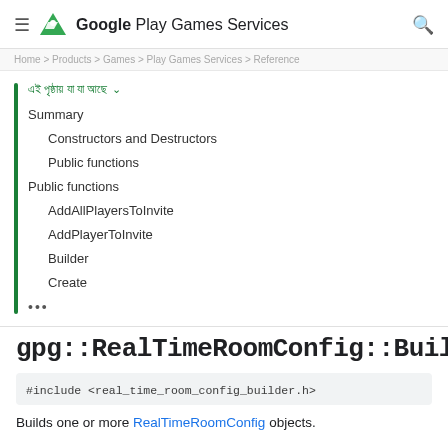Google Play Games Services
Home > Products > Games > Play Games Services > Reference
এই পৃষ্ঠায় যা যা আছে (chevron)
Summary
Constructors and Destructors
Public functions
Public functions
AddAllPlayersToInvite
AddPlayerToInvite
Builder
Create
•••
gpg::RealTimeRoomConfig::Builder
#include <real_time_room_config_builder.h>
Builds one or more RealTimeRoomConfig objects.